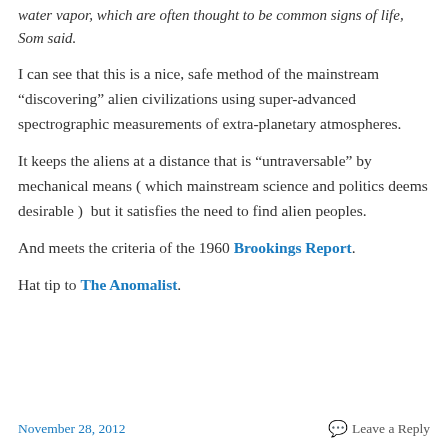water vapor, which are often thought to be common signs of life, Som said.
I can see that this is a nice, safe method of the mainstream “discovering” alien civilizations using super-advanced spectrographic measurements of extra-planetary atmospheres.
It keeps the aliens at a distance that is “untraversable” by mechanical means ( which mainstream science and politics deems desirable )  but it satisfies the need to find alien peoples.
And meets the criteria of the 1960 Brookings Report.
Hat tip to The Anomalist.
November 28, 2012   Leave a Reply